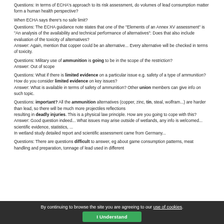Questions: In terms of ECHA's approach to its risk assessment, do volumes of lead consumption matter form a human health perspective?
When ECHA says there's no safe limit?
Questions: The ECHA guidance note states that one of the "Elements of an Annex XV assessment" is "An analysis of the availability and technical performance of alternatives": Does that also include evaluation of the toxicity of alternatives?
Answer: Again, mention that copper could be an alternative... Every alternative will be checked in terms of toxicity.
Questions: Military use of ammunition is going to be in the scope of the restriction?
Answer: Out of scope
Questions: What if there is limited evidence on a particular issue e.g. safety of a type of ammunition? How do you consider limited evidence on key issues?
Answer: What is available in terms of safety of ammunition? Other union members can give info on such topic.
Questions: important? All the ammunition alternatives (copper, zinc, tin, steal, wolfram...) are harder than lead, so there will be much more projectiles reflections
resulting in deadly injuries. This is a physical law principle. How are you going to cope with this?
Answer: Good question indeed... What issues may arise outside of wetlands, any info is welcomed... scientific evidence, statistics, ...
In wetland study detailed report and scientific assessment came from Germany...
Questions: There are questions difficult to answer, eg about game consumption patterns, meat handling and preparation, tonnage of lead used in different
By continuing to browse the site you are agreeing to our use of cookies.